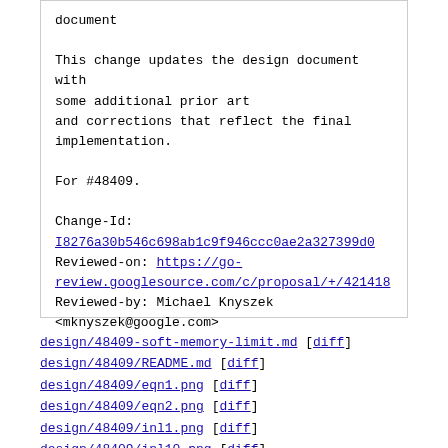document

This change updates the design document with some additional prior art
and corrections that reflect the final implementation.

For #48409.

Change-Id:
I8276a30b546c698ab1c9f946ccc0ae2a327399d0
Reviewed-on: https://go-review.googlesource.com/c/proposal/+/421418
Reviewed-by: Michael Knyszek <mknyszek@google.com>
design/48409-soft-memory-limit.md [diff]
design/48409/README.md [diff]
design/48409/eqn1.png [diff]
design/48409/eqn2.png [diff]
design/48409/inl1.png [diff]
design/48409/inl10.png [diff]